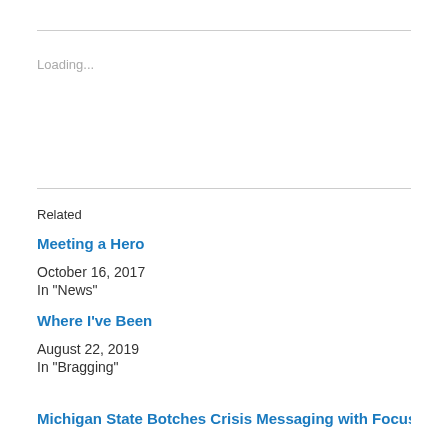Loading...
Related
Meeting a Hero
October 16, 2017
In "News"
Where I've Been
August 22, 2019
In "Bragging"
Michigan State Botches Crisis Messaging with Focus on